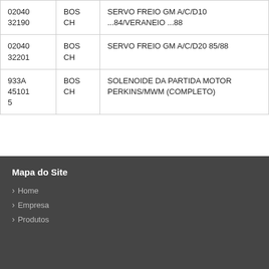| 02040
32190 | BOS
CH | SERVO FREIO GM A/C/D10 ...84/VERANEIO ...88 |
| 02040
32201 | BOS
CH | SERVO FREIO GM A/C/D20 85/88 |
| 933A
451015 | BOS
CH | SOLENOIDE DA PARTIDA MOTOR PERKINS/MWM (COMPLETO) |
Mapa do Site
Home
Empresa
Produtos